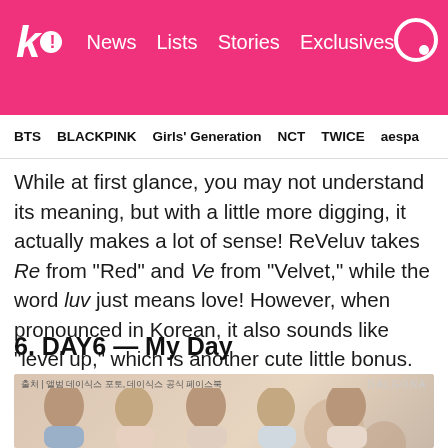k! News Lists Stories Exclusives
BTS BLACKPINK Girls' Generation NCT TWICE aespa
While at first glance, you may not understand its meaning, but with a little more digging, it actually makes a lot of sense! ReVeluv takes Re from “Red” and Ve from “Velvet,” while the word luv just means love! However, when pronounced in Korean, it also sounds like “level up,” which is another cute little bonus.
6. DAY6 — My Day
[Figure (photo): Group photo of DAY6 members posing together, with Korean text overlay and DALGONA watermark]